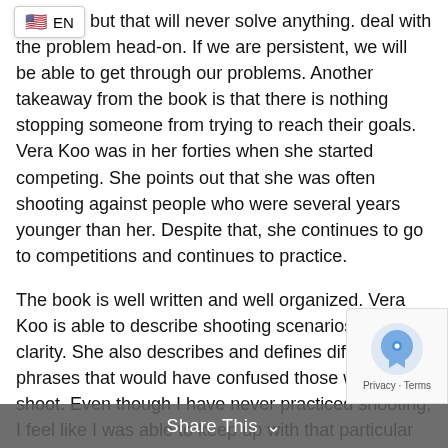[Figure (other): Language selector badge showing US flag and EN label]
roblems, but that will never solve anything. deal with the problem head-on. If we are persistent, we will be able to get through our problems. Another takeaway from the book is that there is nothing stopping someone from trying to reach their goals. Vera Koo was in her forties when she started competing. She points out that she was often shooting against people who were several years younger than her. Despite that, she continues to go to competitions and continues to practice.
The book is well written and well organized. Vera Koo is able to describe shooting scenarios with clarity. She also describes and defines different phrases that would have confused those who don’t shoot. Even though I have never practiced shooting, I feel like I was able to keep up with that particular storyline pretty well.
I would give this book a 4/4 because of the writing, editing, and overall message of the book. All come
Share This ›